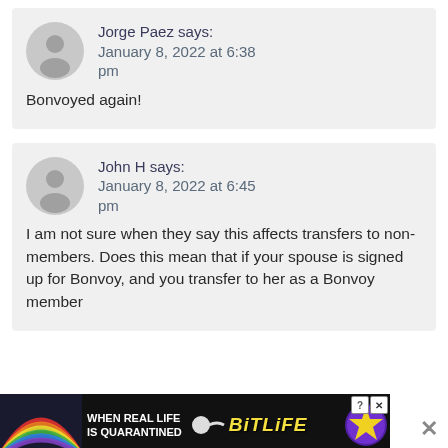Jorge Paez says:
January 8, 2022 at 6:38 pm
Bonvoyed again!
John H says:
January 8, 2022 at 6:45 pm
I am not sure when they say this affects transfers to non-members. Does this mean that if your spouse is signed up for Bonvoy, and you transfer to her as a Bonvoy member
[Figure (screenshot): Advertisement banner for BitLife app with rainbow background and text 'WHEN REAL LIFE IS QUARANTINED']